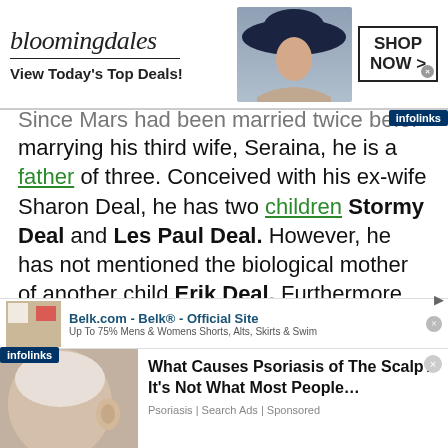[Figure (screenshot): Bloomingdales advertisement banner with logo, model wearing hat, and SHOP NOW button]
Since Mars had been married twice before marrying his third wife, Seraina, he is a father of three. Conceived with his ex-wife Sharon Deal, he has two children Stormy Deal and Les Paul Deal. However, he has not mentioned the biological mother of another child Erik Deal. Furthermore, his daughter Stormy was born on September 4, 1973, making her 48 as of 2021. Les Paul is her younger brother, whose age has not mentioned anywhere. However, the
[Figure (screenshot): Belk.com advertisement banner]
[Figure (screenshot): Psoriasis advertisement with image of scalp and text: What Causes Psoriasis of The Scalp? It's Not What Most People... Psoriasis | Search Ads | Sponsored]